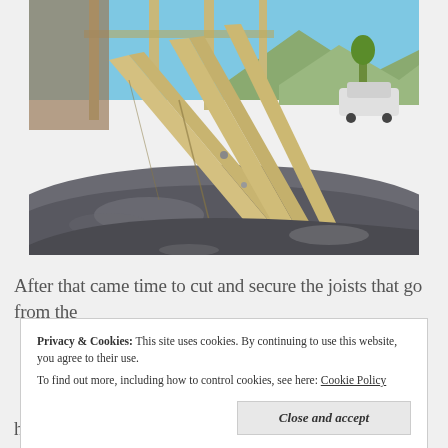[Figure (photo): Close-up photograph of wooden lumber joists/beams resting on the roof of a dark-colored car, with a building frame structure and mountains visible in the background under a blue sky.]
After that came time to cut and secure the joists that go from the
Privacy & Cookies:  This site uses cookies. By continuing to use this website, you agree to their use.
To find out more, including how to control cookies, see here: Cookie Policy
Close and accept
hope in doing this was to make the vehicle more aerodynamic as